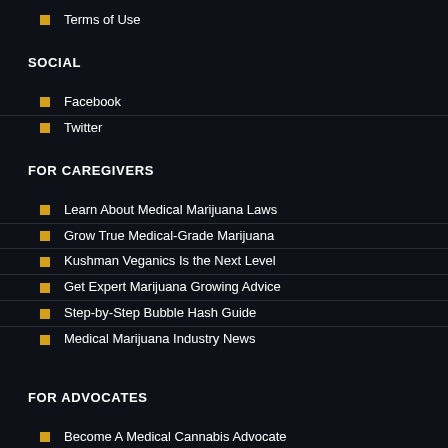Terms of Use
SOCIAL
Facebook
Twitter
FOR CAREGIVERS
Learn About Medical Marijuana Laws
Grow True Medical-Grade Marijuana
Kushman Veganics Is the Next Level
Get Expert Marijuana Growing Advice
Step-by-Step Bubble Hash Guide
Medical Marijuana Industry News
FOR ADVOCATES
Become A Medical Cannabis Advocate
Federal Medical Marijuana Laws
State Medical Marijuana Laws
Our Lobbyists – Marijuana Policy Project